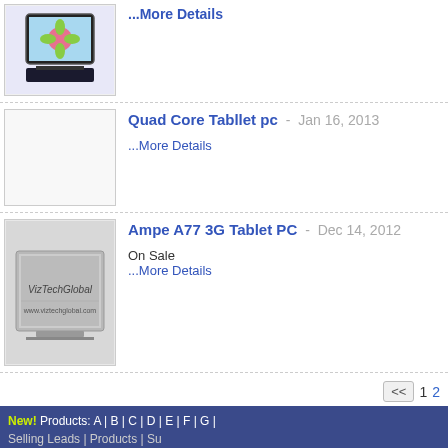[Figure (photo): Tablet PC product image (top of page, partially visible)]
...More Details
Quad Core Tabllet pc  -  Jan 16, 2013
...More Details
[Figure (photo): Blank/white product image placeholder for Quad Core Tabllet pc]
Ampe A77 3G Tablet PC  -  Dec 14, 2012
[Figure (photo): Photo of Ampe A77 3G Tablet PC product - tablet on surface with VizTechGlobal branding]
On Sale
...More Details
<<  1  2
New! Products: A | B | C | D | E | F | G |
Selling Leads | Products | Su
Promote your business with Trade Leads, offers company directory and
Copyright © 2012 Tradelead.com. All rights r